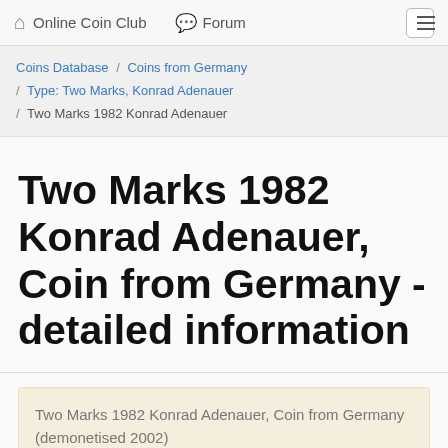Online Coin Club   Forum
Coins Database / Coins from Germany / Type: Two Marks, Konrad Adenauer / Two Marks 1982 Konrad Adenauer
Two Marks 1982 Konrad Adenauer, Coin from Germany - detailed information
Two Marks 1982 Konrad Adenauer, Coin from Germany (demonetised 2002)